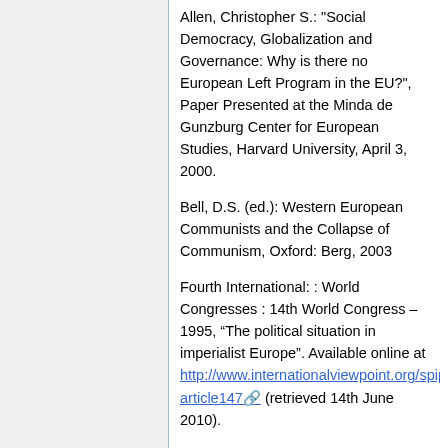Allen, Christopher S.: "Social Democracy, Globalization and Governance: Why is there no European Left Program in the EU?", Paper Presented at the Minda de Gunzburg Center for European Studies, Harvard University, April 3, 2000.
Bell, D.S. (ed.): Western European Communists and the Collapse of Communism, Oxford: Berg, 2003
Fourth International: : World Congresses : 14th World Congress – 1995, “The political situation in imperialist Europe”. Available online at http://www.internationalviewpoint.org/spip.php?article147 (retrieved 14th June 2010).
Fukuyama, Francis: The End of History and the Last Man, 1992